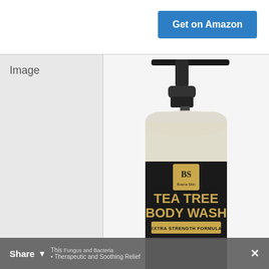Get on Amazon
Image
[Figure (photo): Buena Skin Tea Tree Body Wash pump bottle with black label, gold text reading TEA TREE BODY WASH, EXTRA STRENGTH FORMULA, and BS Buena Skin logo on gold badge. Clear bottle with black pump dispenser.]
Share This
Fungus and Bacteria
Therapeutic and Soothing Relief
×